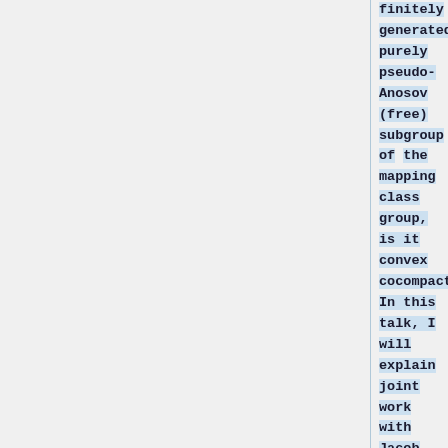finitely generated, purely pseudo-Anosov (free) subgroup of the mapping class group, is it convex cocompact? In this talk, I will explain joint work with Jacob Russell in which we answer the question affirmatively f